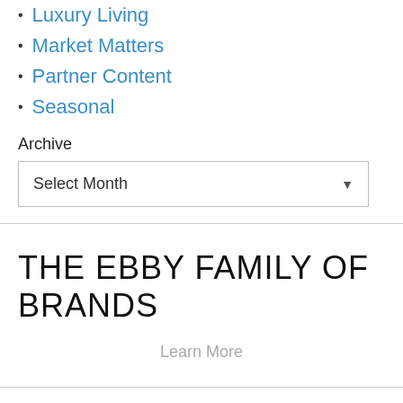Luxury Living
Market Matters
Partner Content
Seasonal
Archive
Select Month
THE EBBY FAMILY OF BRANDS
Learn More